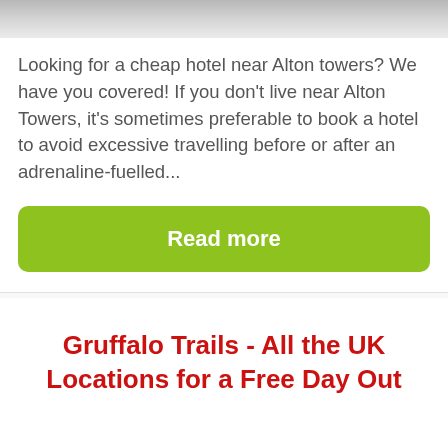[Figure (photo): Top portion of a hotel room image, cropped — shows light-colored bedding or pillows against a light background]
Looking for a cheap hotel near Alton towers? We have you covered! If you don't live near Alton Towers, it's sometimes preferable to book a hotel to avoid excessive travelling before or after an adrenaline-fuelled...
Read more
Gruffalo Trails - All the UK Locations for a Free Day Out